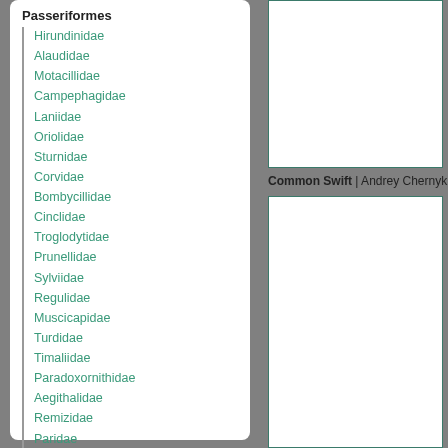Passeriformes
Hirundinidae
Alaudidae
Motacillidae
Campephagidae
Laniidae
Oriolidae
Sturnidae
Corvidae
Bombycillidae
Cinclidae
Troglodytidae
Prunellidae
Sylviidae
Regulidae
Muscicapidae
Turdidae
Timaliidae
Paradoxornithidae
Aegithalidae
Remizidae
Paridae
Sittidae
Certhiidae
Ploceidae
Fringillidae
Emberizidae
[Figure (photo): Photo of Common Swift (top image)]
Common Swift | Andrey Chernykh | 5
[Figure (photo): Photo of Common Swift (bottom image)]